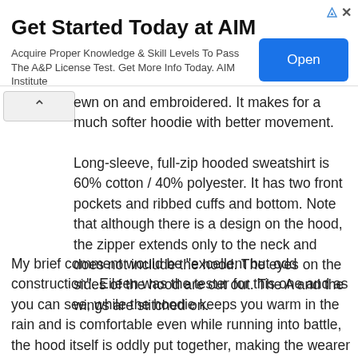[Figure (other): Advertisement banner for AIM Institute with title 'Get Started Today at AIM', body text 'Acquire Proper Knowledge & Skill Levels To Pass The A&P License Test. Get More Info Today. AIM Institute', and a blue 'Open' button]
ewn on and embroidered. It makes for a much softer hoodie with better movement.
Long-sleeve, full-zip hooded sweatshirt is 60% cotton / 40% polyester. It has two front pockets and ribbed cuffs and bottom. Note that although there is a design on the hood, the zipper extends only to the neck and does not include the hood. The eyes on the sides of the hood are cut out. The A and the wings are stitched on.
My brief comment would be "excellent but odd construction". Eileen was the tester for this one and as you can see, while the hoodie keeps you warm in the rain and is comfortable even while running into battle, the hood itself is oddly put together, making the wearer look like more like a Troma hero than a Marvel one! Heeeesterical. For some, this will be a selling point. The cut-out eyes the A is a t-shape construction